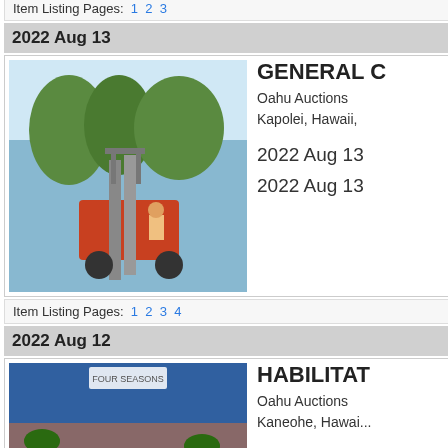[Figure (photo): Truck with dump trailer at Kailua, Hawaii auction]
Kailua, Hawaii, U...
2022 Aug 14
2022 Aug 14
Item Listing Pages: 1 2 3
2022 Aug 13
[Figure (photo): Forklift at General auction, Oahu Auctions, Kapolei, Hawaii]
GENERAL C
Oahu Auctions
Kapolei, Hawaii,
2022 Aug 13
2022 Aug 13
Item Listing Pages: 1 2 3 4
2022 Aug 12
[Figure (photo): Resort / Habilitat auction image showing Four Seasons Resort on Maui]
HABILITAT
Oahu Auctions
Kaneohe, Hawai...
2022 Aug 12
2022 Aug 12
Item Listing Pages: 1 2 3 4 5 6 7 8
2022 Aug 07
[Figure (photo): Farm equipment auction listing thumbnail]
FARM EQUI
Oahu Auctions